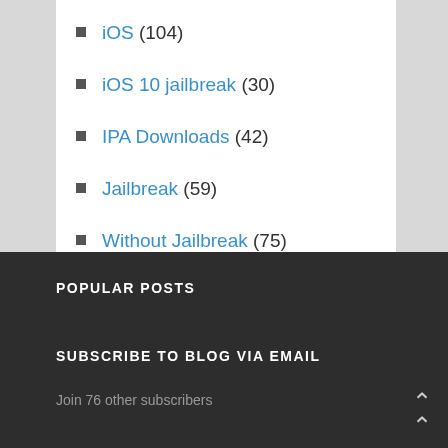iOS (104)
iOS 10 jailbreak (30)
IPA Downloads (42)
Jailbreak (59)
Without Jailbreak (75)
POPULAR POSTS
SUBSCRIBE TO BLOG VIA EMAIL
Join 76 other subscribers